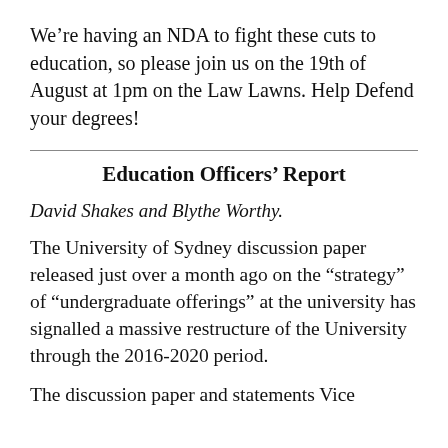We're having an NDA to fight these cuts to education, so please join us on the 19th of August at 1pm on the Law Lawns. Help Defend your degrees!
Education Officers' Report
David Shakes and Blythe Worthy.
The University of Sydney discussion paper released just over a month ago on the “strategy” of “undergraduate offerings” at the university has signalled a massive restructure of the University through the 2016-2020 period.
The discussion paper and statements Vice